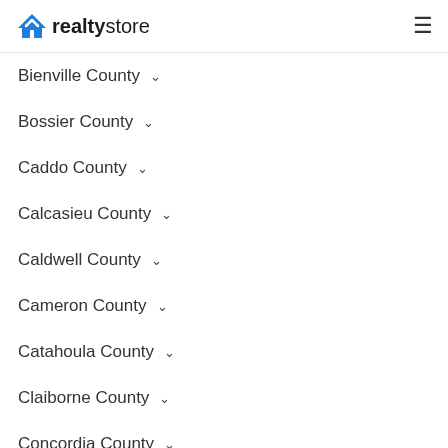realtystore
Bienville County
Bossier County
Caddo County
Calcasieu County
Caldwell County
Cameron County
Catahoula County
Claiborne County
Concordia County